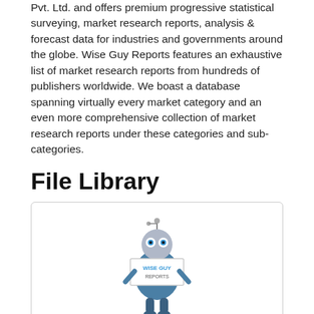Pvt. Ltd. and offers premium progressive statistical surveying, market research reports, analysis & forecast data for industries and governments around the globe. Wise Guy Reports features an exhaustive list of market research reports from hundreds of publishers worldwide. We boast a database spanning virtually every market category and an even more comprehensive collection of market research reports under these categories and sub-categories.
File Library
[Figure (logo): Wise Guy Reports mascot illustration — a robot-like character holding a sign that reads WISE GUY REPORTS]
Contact Profile